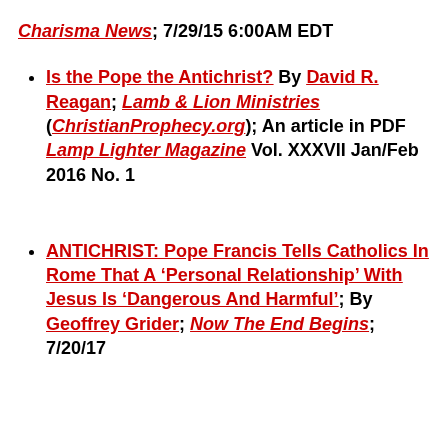Charisma News; 7/29/15 6:00AM EDT
Is the Pope the Antichrist? By David R. Reagan; Lamb & Lion Ministries (ChristianProphecy.org); An article in PDF Lamp Lighter Magazine Vol. XXXVII Jan/Feb 2016 No. 1
ANTICHRIST: Pope Francis Tells Catholics In Rome That A ‘Personal Relationship’ With Jesus Is ‘Dangerous And Harmful’; By Geoffrey Grider; Now The End Begins; 7/20/17